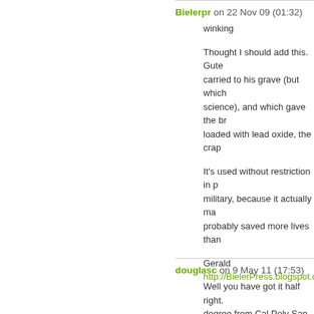Bielerpr on 22 Nov 09 (01:32)
winking

Thought I should add this. Gute carried to his grave (but which science), and which gave the br loaded with lead oxide, the crap

It's used without restriction in p military, because it actually ma probably saved more lives than

Gerald
http://BielerPress.blogspot.com
douglasc on 9 May 11 (17:53)
Well you have got it half right. degree from Cal Poly San luis O Management. I am fith generati type was handled at the turn of different opinion. First the there